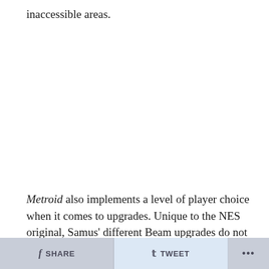inaccessible areas.
Metroid also implements a level of player choice when it comes to upgrades. Unique to the NES original, Samus' different Beam upgrades do not all stack together. The Ice and Wave Beams are incompatible with one another, and
f SHARE   🐦 TWEET   ...